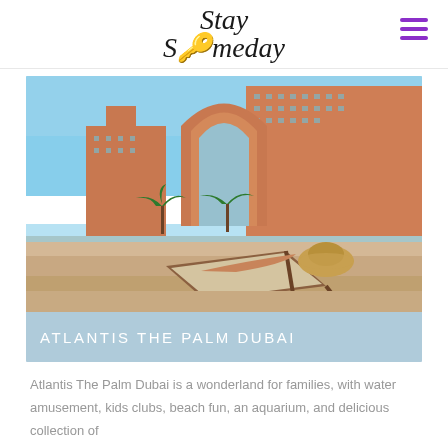Stay Someday
[Figure (photo): Atlantis The Palm Dubai hotel exterior photographed from the beach, with a woman lying on a sun lounger in the foreground holding a straw hat. The iconic pink hotel building with its arch gateway is visible in the background against a blue sky.]
ATLANTIS THE PALM DUBAI
Atlantis The Palm Dubai is a wonderland for families, with water amusement, kids clubs, beach fun, an aquarium, and delicious collection of